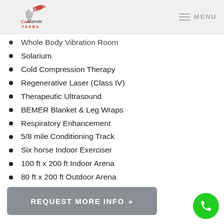CamHaven Farms — MENU
Whole Body Vibration Room
Solarium
Cold Compression Therapy
Regenerative Laser (Class IV)
Therapeutic Ultrasound
BEMER Blanket & Leg Wraps
Respiratory Enhancement
5/8 mile Conditioning Track
Six horse Indoor Exerciser
100 ft x 200 ft Indoor Arena
80 ft x 200 ft Outdoor Arena
REQUEST MORE INFO »